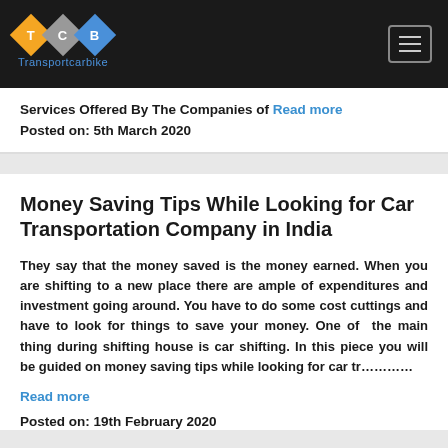[Figure (logo): Transportcarbike logo with three diamond shapes (orange T, gray C, blue B) and text 'Transportcarbike' below]
Services Offered By The Companies of Read more
Posted on: 5th March 2020
Money Saving Tips While Looking for Car Transportation Company in India
They say that the money saved is the money earned. When you are shifting to a new place there are ample of expenditures and investment going around. You have to do some cost cuttings and have to look for things to save your money. One of the main thing during shifting house is car shifting. In this piece you will be guided on money saving tips while looking for car tr…………
Read more
Posted on: 19th February 2020